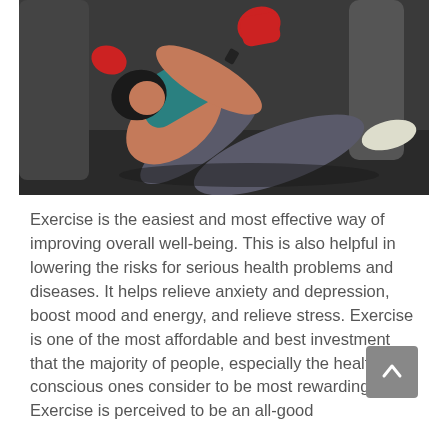[Figure (photo): A woman in athletic wear with red boxing hand wraps doing a sit-up or crunch exercise on a gym floor, punching upward. She is wearing a teal sports bra and grey leggings. The background shows a gym setting with boxing bags.]
Exercise is the easiest and most effective way of improving overall well-being. This is also helpful in lowering the risks for serious health problems and diseases. It helps relieve anxiety and depression, boost mood and energy, and relieve stress. Exercise is one of the most affordable and best investment that the majority of people, especially the health conscious ones consider to be most rewarding. Exercise is perceived to be an all-good...